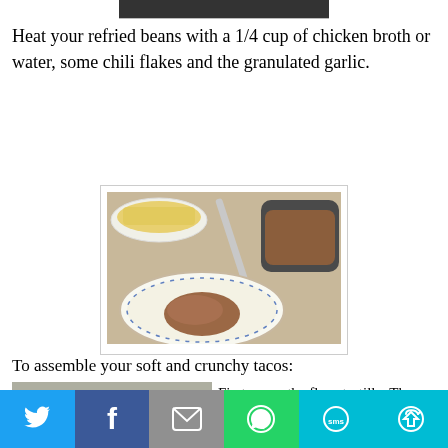[Figure (photo): Top partial photo of food, cut off at top of page]
Heat your refried beans with a 1/4 cup of chicken broth or water, some chili flakes and the granulated garlic.
[Figure (photo): Photo of a white plate with refried beans spread on it, a pan with more beans and a ladle/spoon, and a small dish with corn chips in the background, on a light wooden surface]
To assemble your soft and crunchy tacos:
[Figure (photo): Partial photo on bottom left showing taco assembly ingredients]
First warm the flour tortilla. Then apply a layer of refried
Twitter | Facebook | Email | WhatsApp | SMS | More